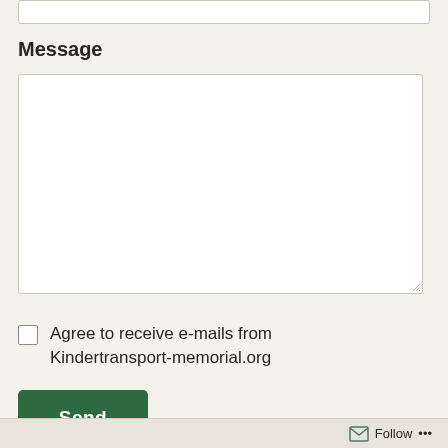Message
[Figure (other): Empty text input field at top of page]
[Figure (other): Large empty textarea for message input]
Agree to receive e-mails from Kindertransport-memorial.org
Send
Follow